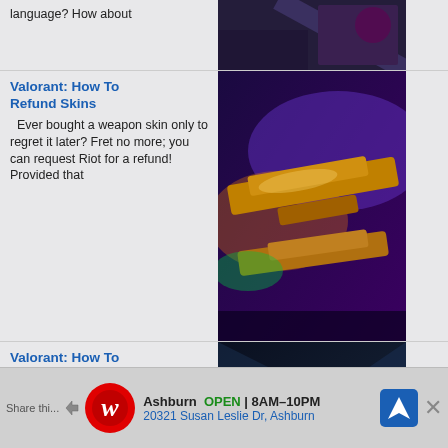language? How about
[Figure (photo): Game screenshot thumbnail (top partial)]
Valorant: How To Refund Skins
Ever bought a weapon skin only to regret it later? Fret no more; you can request Riot for a refund! Provided that
[Figure (photo): Valorant weapon skins screenshot]
Valorant: How To Change Region
Do you want to play with old friends or meet new teammates from the opposite side of the globe? Interested in the
[Figure (photo): Valorant logo on dark icy background]
Valorant: How To Remake
Ever started round 1 of a game with a disconnected or “AFK” teammate? In the voice of Jett, “That sucks!”
[Figure (photo): Valorant Remake DRAW screen]
Valorant: How To
[Figure (photo): Partial thumbnail at bottom]
Ashburn OPEN 8AM–10PM 20321 Susan Leslie Dr, Ashburn